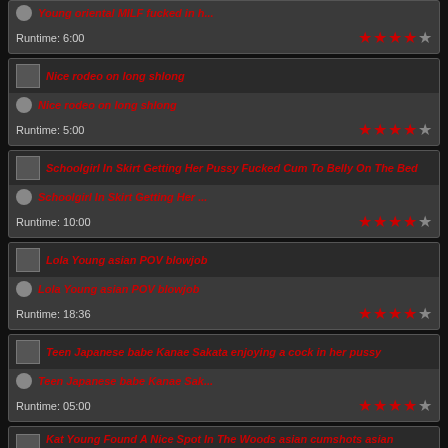Runtime: 6:00, Rating: 4/5 stars
Nice rodeo on long shlong, Runtime: 5:00, Rating: 4/5 stars
Schoolgirl In Skirt Getting Her ..., Runtime: 10:00, Rating: 4/5 stars
Lola Young asian POV blowjob, Runtime: 18:36, Rating: 4/5 stars
Teen Japanese babe Kanae Sak..., Runtime: 05:00, Rating: 4/5 stars
Kat Young Found A Nice Spot I..., Runtime: 06:43, Rating: 4/5 stars